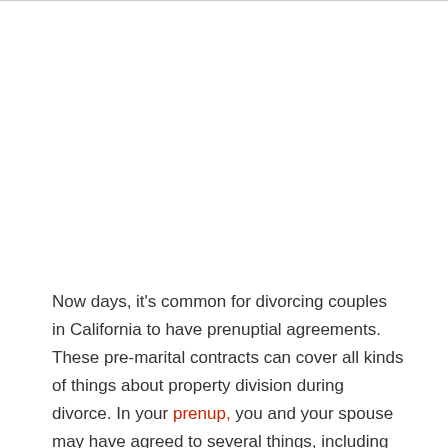Now days, it's common for divorcing couples in California to have prenuptial agreements. These pre-marital contracts can cover all kinds of things about property division during divorce. In your prenup, you and your spouse may have agreed to several things, including the rights and obligations you each have when it comes to property (even if it was acquired